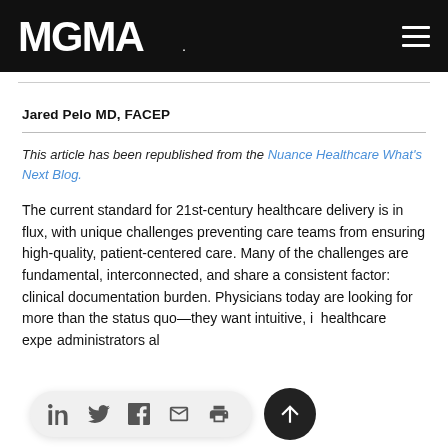MGMA
Jared Pelo MD, FACEP
This article has been republished from the Nuance Healthcare What's Next Blog.
The current standard for 21st-century healthcare delivery is in flux, with unique challenges preventing care teams from ensuring high-quality, patient-centered care. Many of the challenges are fundamental, interconnected, and share a consistent factor: clinical documentation burden. Physicians today are looking for more than the status quo—they want intuitive, i[ntelligent] healthcare expe[rience and] administrators al[so agree]